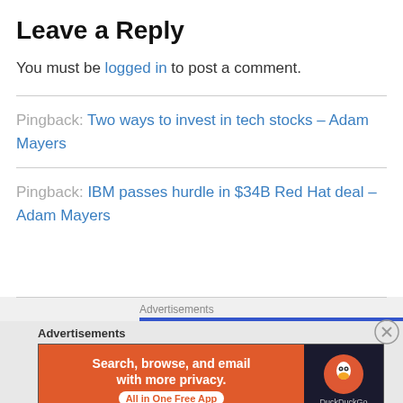Leave a Reply
You must be logged in to post a comment.
Pingback: Two ways to invest in tech stocks – Adam Mayers
Pingback: IBM passes hurdle in $34B Red Hat deal – Adam Mayers
Advertisements
[Figure (infographic): DuckDuckGo advertisement banner: orange background with text 'Search, browse, and email with more privacy. All in One Free App' and DuckDuckGo logo on dark background]
Advertisements